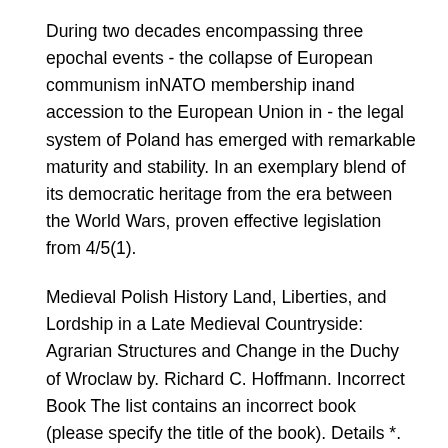During two decades encompassing three epochal events - the collapse of European communism inNATO membership inand accession to the European Union in - the legal system of Poland has emerged with remarkable maturity and stability. In an exemplary blend of its democratic heritage from the era between the World Wars, proven effective legislation from 4/5(1).
Medieval Polish History Land, Liberties, and Lordship in a Late Medieval Countryside: Agrarian Structures and Change in the Duchy of Wroclaw by. Richard C. Hoffmann. Incorrect Book The list contains an incorrect book (please specify the title of the book). Details *. "War and the Law of Nations in the Twentieth Century" is an article from The American Journal of International Law, Volume 9.
View more articles from The American Journal of International Law. View this article on JSTOR. View this article's JSTOR metadata. The most famous work by Nicholas de Condorcet, Esquisse d'un tableau historique des progres de l'esprit humain, With the publication of this book, the development of the Age of Enlightenment is considered generally concluded.